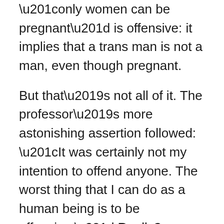“only women can be pregnant” is offensive: it implies that a trans man is not a man, even though pregnant.

But that’s not all of it. The professor’s more astonishing assertion followed: “It was certainly not my intention to offend anyone. The worst thing that I can do as a human being is to be offensive.” Really? “The worst thing?” A doctor could misdiagnose, misprescribe. A surgeon could bollix up an operation, slice out an organ, infect a patient. A police officer could,